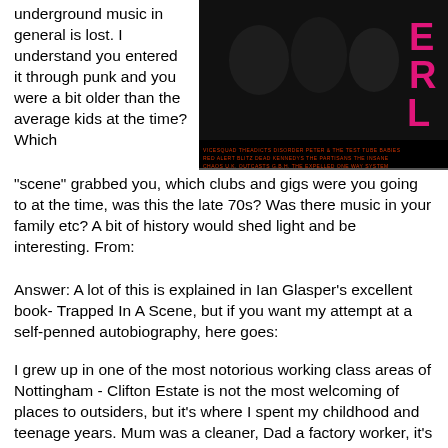underground music in general is lost. I understand you entered it through punk and you were a bit older than the average kids at the time? Which "scene" grabbed you, which clubs and gigs were you going to at the time, was this the late 70s? Was there music in your family etc? A bit of history would shed light and be interesting. From:
[Figure (photo): Black and white photo of punk musicians/band with pink text overlay reading 'ERLY' on the right side. Below the image are band names in small text including VICESQUAD, THEADICTS, DISORDER, PETER & THE TEST TUBE BABIES, RED ALERT, BLITZ, DEAD KENNEDYS, THE PARTISANS, THE INSANE, CHAOS U.K., OUTCASTS, G.B.H., THE EXPELLED, ONE WAY SYSTEM, U.K. SUBS, DECRY, D... TOTAL CHAOS, THE DAMNED, AGENT ORANGE]
Answer: A lot of this is explained in Ian Glasper's excellent book- Trapped In A Scene, but if you want my attempt at a self-penned autobiography, here goes:
I grew up in one of the most notorious working class areas of Nottingham - Clifton Estate is not the most welcoming of places to outsiders, but it's where I spent my childhood and teenage years. Mum was a cleaner, Dad a factory worker, it's